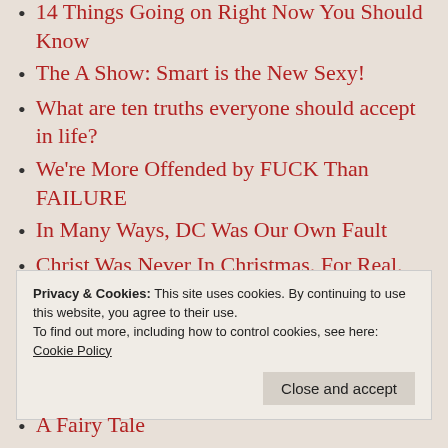14 Things Going on Right Now You Should Know
The A Show: Smart is the New Sexy!
What are ten truths everyone should accept in life?
We're More Offended by FUCK Than FAILURE
In Many Ways, DC Was Our Own Fault
Christ Was Never In Christmas. For Real.
Remember, Remember the Fifth of
Privacy & Cookies: This site uses cookies. By continuing to use this website, you agree to their use.
To find out more, including how to control cookies, see here: Cookie Policy
A Fairy Tale